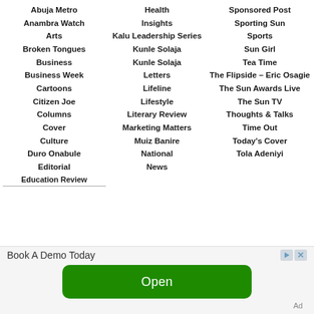Abuja Metro
Anambra Watch
Arts
Broken Tongues
Business
Business Week
Cartoons
Citizen Joe
Columns
Cover
Culture
Duro Onabule
Editorial
Education Review
Health
Insights
Kalu Leadership Series
Kunle Solaja
Kunle Solaja
Letters
Lifeline
Lifestyle
Literary Review
Marketing Matters
Muiz Banire
National
News
Sponsored Post
Sporting Sun
Sports
Sun Girl
Tea Time
The Flipside – Eric Osagie
The Sun Awards Live
The Sun TV
Thoughts & Talks
Time Out
Today's Cover
Tola Adeniyi
[Figure (screenshot): Advertisement banner with 'Book A Demo Today' text, a green 'Open' button, and ad icons]